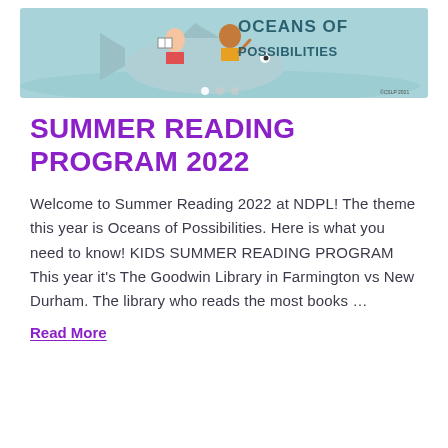[Figure (illustration): Banner image with illustrated children riding a large fish, with text 'OCEANS OF POSSIBILITIES' in teal/dark letters on a light blue-green ocean background. Small navigation dots at the bottom center.]
SUMMER READING PROGRAM 2022
Welcome to Summer Reading 2022 at NDPL! The theme this year is Oceans of Possibilities. Here is what you need to know! KIDS SUMMER READING PROGRAM This year it's The Goodwin Library in Farmington vs New Durham. The library who reads the most books …
Read More